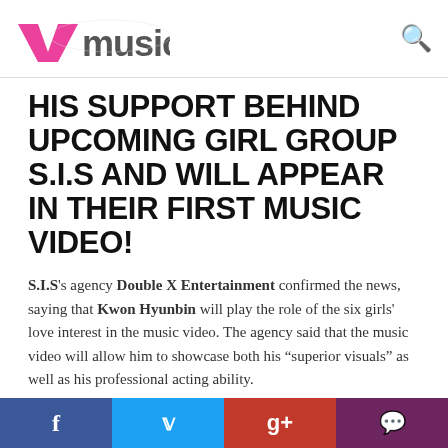VMusic
HIS SUPPORT BEHIND UPCOMING GIRL GROUP S.I.S AND WILL APPEAR IN THEIR FIRST MUSIC VIDEO!
S.I.S's agency Double X Entertainment confirmed the news, saying that Kwon Hyunbin will play the role of the six girls' love interest in the music video. The agency said that the music video will allow him to showcase both his “superior visuals” as well as his professional acting ability.
S.I.S have been gaining attention in the lead up to their debut, and they have been receiving a lot of content with